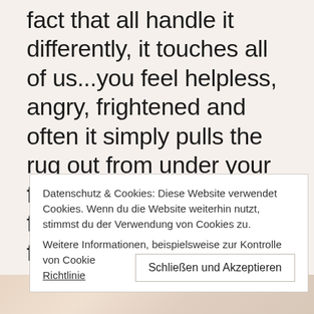fact that all handle it differently, it touches all of us...you feel helpless, angry, frightened and often it simply pulls the rug out from under your feet! We had not heard from our Insta friend Tom for ages.... yes, I had the worst thoughts, but today
Datenschutz & Cookies: Diese Website verwendet Cookies. Wenn du die Website weiterhin nutzt, stimmst du der Verwendung von Cookies zu.
Weitere Informationen, beispielsweise zur Kontrolle von Cookies, findest du hier: Cookie-Richtlinie
Schließen und Akzeptieren
[Figure (photo): Partial view of people smiling, cropped at bottom of page]